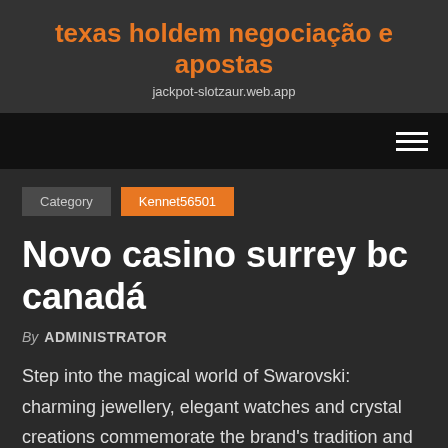texas holdem negociação e apostas
jackpot-slotzaur.web.app
Category  Kennet56501
Novo casino surrey bc canadá
By ADMINISTRATOR
Step into the magical world of Swarovski: charming jewellery, elegant watches and crystal creations commemorate the brand's tradition and craftsmanship.